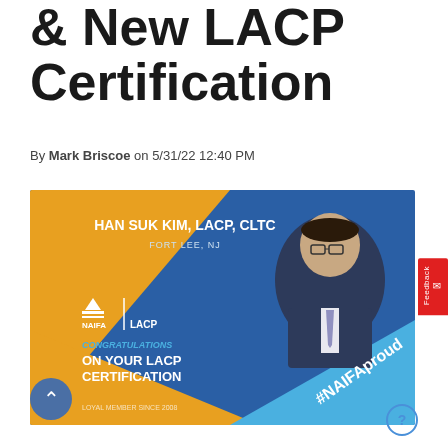& New LACP Certification
By Mark Briscoe on 5/31/22 12:40 PM
[Figure (photo): NAIFA LACP congratulations banner for Han Suk Kim, LACP, CLTC, Fort Lee, NJ — Loyal Member Since 2008. Shows professional headshot, NAIFA|LACP logos, gold/blue graphic with text 'CONGRATULATIONS ON YOUR LACP CERTIFICATION' and '#NAIFAproud'.]